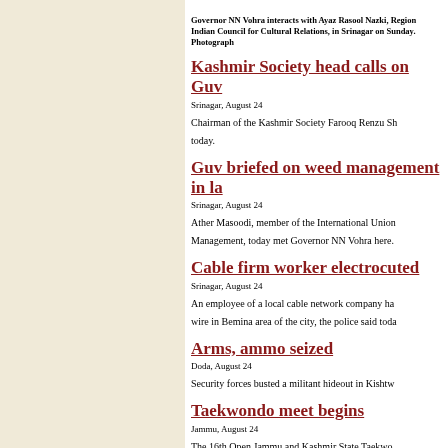Governor NN Vohra interacts with Ayaz Rasool Nazki, Regional Director, Indian Council for Cultural Relations, in Srinagar on Sunday. Photograph
Kashmir Society head calls on Guv
Srinagar, August 24
Chairman of the Kashmir Society Farooq Renzu Sh... today.
Guv briefed on weed management in la...
Srinagar, August 24
Ather Masoodi, member of the International Union... Management, today met Governor NN Vohra here.
Cable firm worker electrocuted
Srinagar, August 24
An employee of a local cable network company ha... wire in Bemina area of the city, the police said toda...
Arms, ammo seized
Doda, August 24
Security forces busted a militant hideout in Kishtw...
Taekwondo meet begins
Jammu, August 24
The 16th Open Jammu and Kashmir State Taekwo... Prathinidhi Sabha, Parade, here on Sunday.